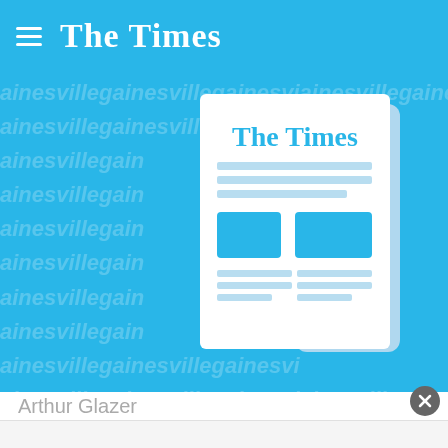The Times
[Figure (illustration): Hero banner with blue background tiled with 'gainesvillegaines' text in lighter blue, featuring a newspaper illustration in the center-right with 'The Times' masthead, text lines, and two blue rectangular image placeholders]
Arthur Glazer